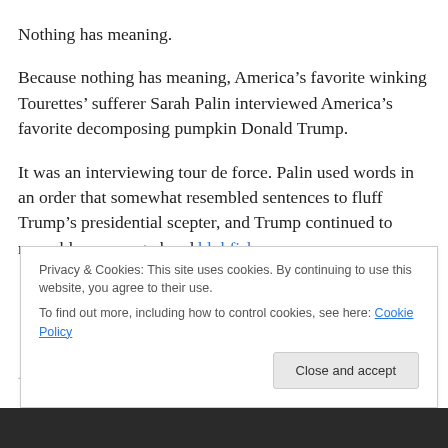Nothing has meaning.
Because nothing has meaning, America’s favorite winking Tourettes’ sufferer Sarah Palin interviewed America’s favorite decomposing pumpkin Donald Trump.
It was an interviewing tour de force. Palin used words in an order that somewhat resembled sentences to fluff Trump’s presidential scepter, and Trump continued to resemble an orange-hued blobfish.
As we noted, the interview...
Privacy & Cookies: This site uses cookies. By continuing to use this website, you agree to their use.
To find out more, including how to control cookies, see here: Cookie Policy
Close and accept